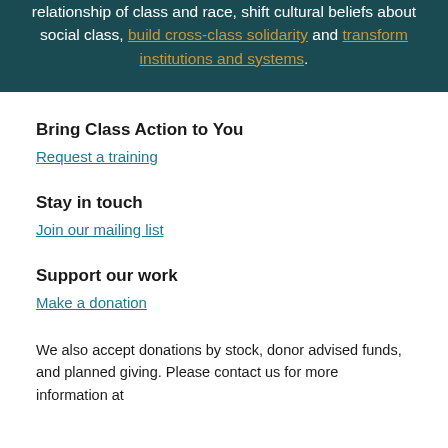relationship of class and race, shift cultural beliefs about social class, build cross-class solidarity and transform institutions and systems.
Bring Class Action to You
Request a training
Stay in touch
Join our mailing list
Support our work
Make a donation
We also accept donations by stock, donor advised funds, and planned giving. Please contact us for more information at